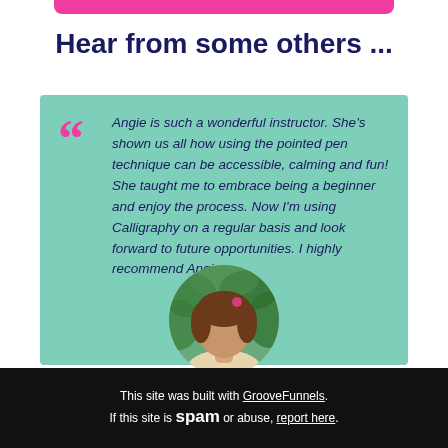Hear from some others ...
Angie is such a wonderful instructor. She's shown us all how using the pointed pen technique can be accessible, calming and fun! She taught me to embrace being a beginner and enjoy the process. Now I'm using Calligraphy on a regular basis and look forward to future opportunities. I highly recommend Angie.

- Jeannelle A. Benek
[Figure (photo): Circular portrait photo of a person with brown hair outdoors against green foliage background]
This site was built with GrooveFunnels. If this site is spam or abuse, report here.